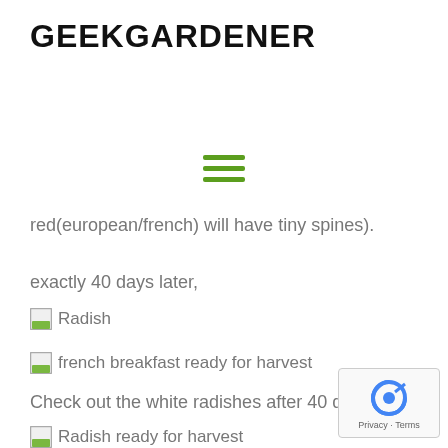GEEKGARDENER
[Figure (other): Hamburger menu icon with three horizontal green lines]
red(european/french) will have tiny spines).
exactly 40 days later,
[Figure (photo): Radish image placeholder]
[Figure (photo): french breakfast ready for harvest image placeholder]
Check out the white radishes after 40 days.
[Figure (photo): Radish ready for harvest image placeholder]